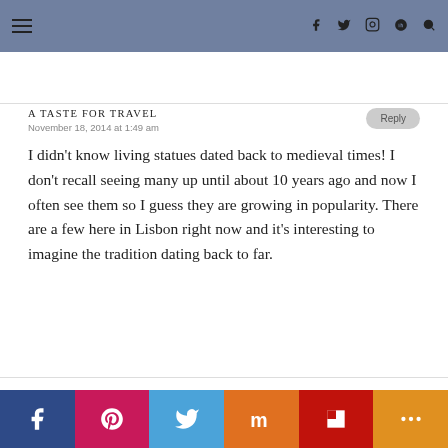Navigation bar with hamburger menu and social icons (f, twitter, instagram, pinterest, search)
A TASTE FOR TRAVEL
November 18, 2014 at 1:49 am
I didn't know living statues dated back to medieval times! I don't recall seeing many up until about 10 years ago and now I often see them so I guess they are growing in popularity. There are a few here in Lisbon right now and it's interesting to imagine the tradition dating back to far.
Social share bar: Facebook, Pinterest, Twitter, Mix, Flipboard, More